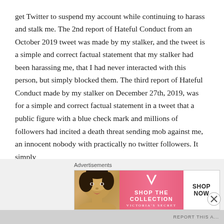get Twitter to suspend my account while continuing to harass and stalk me.  The 2nd report of Hateful Conduct from an October 2019 tweet was made by my stalker, and the tweet is a simple and correct factual statement that my stalker had been harassing me, that I had never interacted with this person, but simply blocked them.  The third report of Hateful Conduct made by my stalker on December 27th, 2019, was for a simple and correct factual statement in a tweet that a public figure with a blue check mark and millions of followers had incited a death threat sending mob against me, an innocent nobody with practically no twitter followers.  It simply
Advertisements
[Figure (other): Victoria's Secret advertisement banner showing a woman's face on the left, pink background with VS logo and 'SHOP THE COLLECTION' text in the middle, and a white 'SHOP NOW' button on the right]